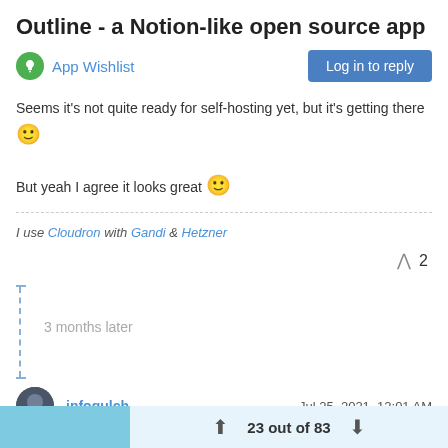Outline - a Notion-like open source app
App Wishlist
Seems it's not quite ready for self-hosting yet, but it's getting there 🙂
But yeah I agree it looks great 🙂
I use Cloudron with Gandi & Hetzner
^ 2
3 months later
infogulch  Jul 25, 2021, 12:01 AM
Well it looks like it's possible to host Outline in docker, there is a
23 out of 83